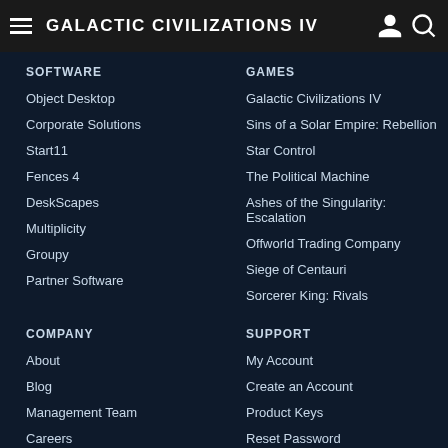Galactic Civilizations IV
SOFTWARE
Object Desktop
Corporate Solutions
Start11
Fences 4
DeskScapes
Multiplicity
Groupy
Partner Software
GAMES
Galactic Civilizations IV
Sins of a Solar Empire: Rebellion
Star Control
The Political Machine
Ashes of the Singularity: Escalation
Offworld Trading Company
Siege of Centauri
Sorcerer King: Rivals
COMPANY
About
Blog
Management Team
Careers
News
Press
SUPPORT
My Account
Create an Account
Product Keys
Reset Password
Update Account Info